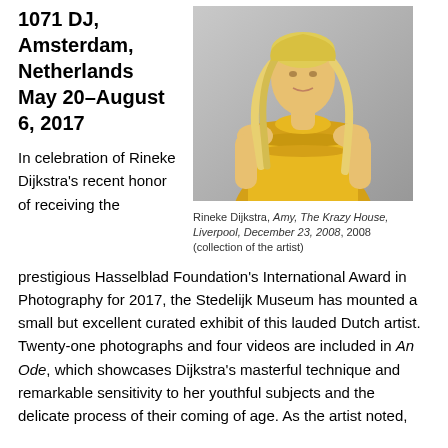1071 DJ, Amsterdam, Netherlands May 20–August 6, 2017
[Figure (photo): Portrait photograph of a young blonde woman wearing a yellow ruffled top, photographed from the waist up against a grey background.]
Rineke Dijkstra, Amy, The Krazy House, Liverpool, December 23, 2008, 2008 (collection of the artist)
In celebration of Rineke Dijkstra's recent honor of receiving the prestigious Hasselblad Foundation's International Award in Photography for 2017, the Stedelijk Museum has mounted a small but excellent curated exhibit of this lauded Dutch artist. Twenty-one photographs and four videos are included in An Ode, which showcases Dijkstra's masterful technique and remarkable sensitivity to her youthful subjects and the delicate process of their coming of age. As the artist noted,